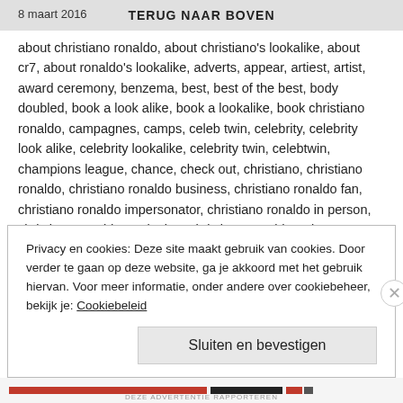8 maart 2016  TERUG NAAR BOVEN
about christiano ronaldo, about christiano's lookalike, about cr7, about ronaldo's lookalike, adverts, appear, artiest, artist, award ceremony, benzema, best, best of the best, body doubled, book a look alike, book a lookalike, book christiano ronaldo, campagnes, camps, celeb twin, celebrity, celebrity look alike, celebrity lookalike, celebrity twin, celebtwin, champions league, chance, check out, christiano, christiano ronaldo, christiano ronaldo business, christiano ronaldo fan, christiano ronaldo impersonator, christiano ronaldo in person, christiano ronaldo marketing, christiano ronaldo's clone, christiano ronaldo's double, christiano ronaldo's ringer, christiano's double, clinics, clone, commercial, companies, contact, corporate event, cr7, cr7 fan, CR7 look alike, CR7 lookalike, dead ringer, depay, double, doubled, drive, dubbelganger, dutch artist, enschede, entertainer, enthousiasme, evenbeeld, event, example, exhibition, exited, experience, face doubled, facebook christiano ronaldo,
Privacy en cookies: Deze site maakt gebruik van cookies. Door verder te gaan op deze website, ga je akkoord met het gebruik hiervan. Voor meer informatie, onder andere over cookiebeheer, bekijk je: Cookiebeleid
Sluiten en bevestigen